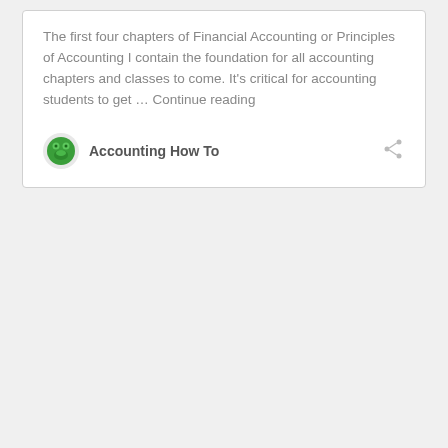The first four chapters of Financial Accounting or Principles of Accounting I contain the foundation for all accounting chapters and classes to come. It's critical for accounting students to get … Continue reading
Accounting How To